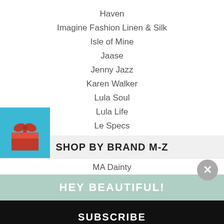Haven
Imagine Fashion Linen & Silk
Isle of Mine
Jaase
Jenny Jazz
Karen Walker
Lula Soul
Lula Life
Le Specs
[Figure (illustration): Blue square with red gift box icon]
SHOP BY BRAND M-Z
MA Dainty
HEY BEAUTIFUL!
SUBSCRIBE